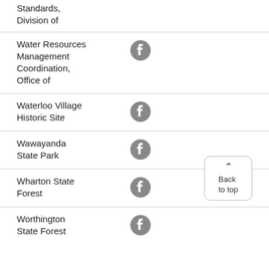Standards, Division of
Water Resources Management Coordination, Office of
Waterloo Village Historic Site
Wawayanda State Park
Wharton State Forest
Worthington State Forest